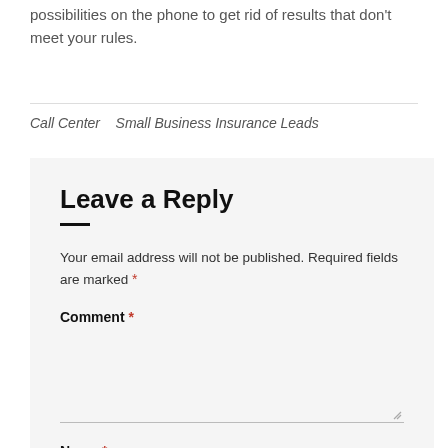possibilities on the phone to get rid of results that don't meet your rules.
Call Center   Small Business Insurance Leads
Leave a Reply
Your email address will not be published. Required fields are marked *
Comment *
Name *